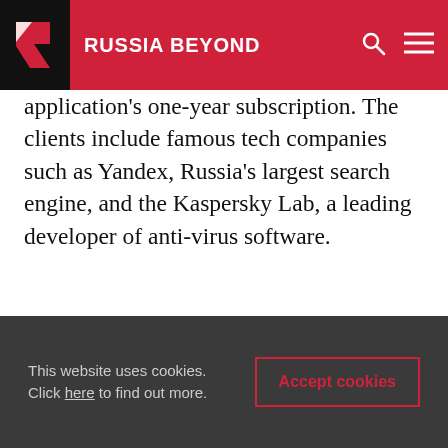RUSSIA BEYOND
application's one-year subscription. The clients include famous tech companies such as Yandex, Russia's largest search engine, and the Kaspersky Lab, a leading developer of anti-virus software.
[Figure (photo): Two smartphones shown side by side — one with a teal Android screen showing 10:1 time display, and one dark phone showing a circular analog clock face with watch-like dial markings.]
This website uses cookies. Click here to find out more.